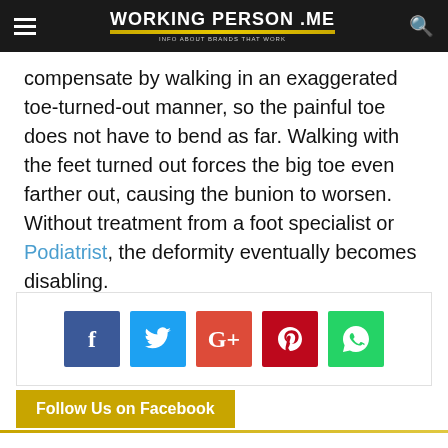Working Person .ME — Info About Brands That Work
compensate by walking in an exaggerated toe-turned-out manner, so the painful toe does not have to bend as far. Walking with the feet turned out forces the big toe even farther out, causing the bunion to worsen. Without treatment from a foot specialist or Podiatrist, the deformity eventually becomes disabling.
[Figure (infographic): Social sharing buttons: Facebook (blue), Twitter (light blue), Google+ (red-orange), Pinterest (dark red), WhatsApp (green)]
Follow Us on Facebook